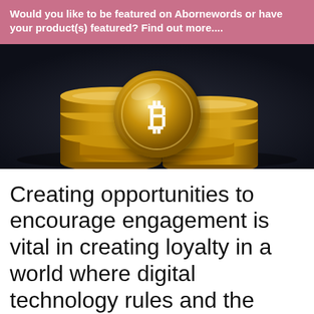Would you like to be featured on Abornewords or have your product(s) featured? Find out more....
[Figure (photo): Stack of gold Bitcoin coins arranged in a dramatic display against a dark background]
Creating opportunities to encourage engagement is vital in creating loyalty in a world where digital technology rules and the power has been taken...